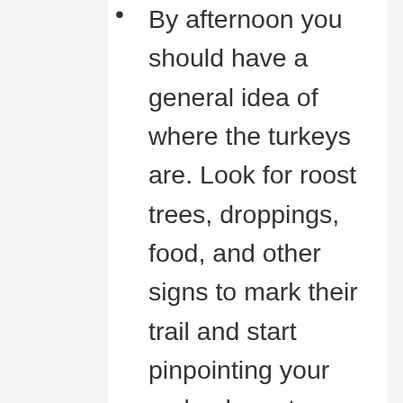By afternoon you should have a general idea of where the turkeys are. Look for roost trees, droppings, food, and other signs to mark their trail and start pinpointing your ambush spots based on where they will be later in the evening. Your turkey hunting scouting process is now